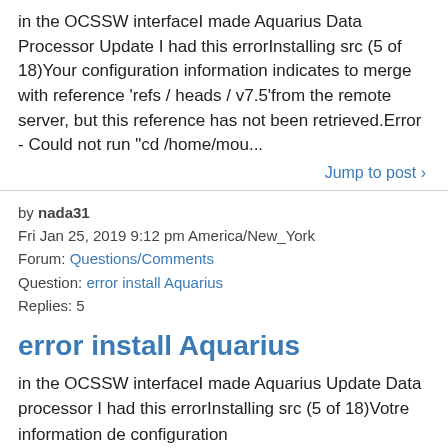in the OCSSW interfaceI made Aquarius Data Processor Update I had this errorInstalling src (5 of 18)Your configuration information indicates to merge with reference 'refs / heads / v7.5'from the remote server, but this reference has not been retrieved.Error - Could not run "cd /home/mou...
Jump to post ›
by nada31
Fri Jan 25, 2019 9:12 pm America/New_York
Forum: Questions/Comments
Question: error install Aquarius
Replies: 5
error install Aquarius
in the OCSSW interfaceI made Aquarius Update Data processor I had this errorInstalling src (5 of 18)Votre information de configuration